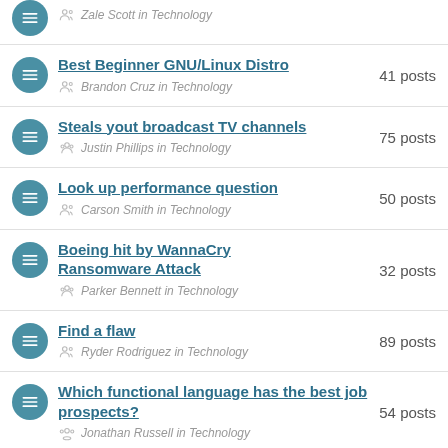Best Beginner GNU/Linux Distro — Brandon Cruz in Technology — 41 posts
Steals yout broadcast TV channels — Justin Phillips in Technology — 75 posts
Look up performance question — Carson Smith in Technology — 50 posts
Boeing hit by WannaCry Ransomware Attack — Parker Bennett in Technology — 32 posts
Find a flaw — Ryder Rodriguez in Technology — 89 posts
Which functional language has the best job prospects? — Jonathan Russell in Technology — 54 posts
So user, why should I hire you? Can — 82 posts